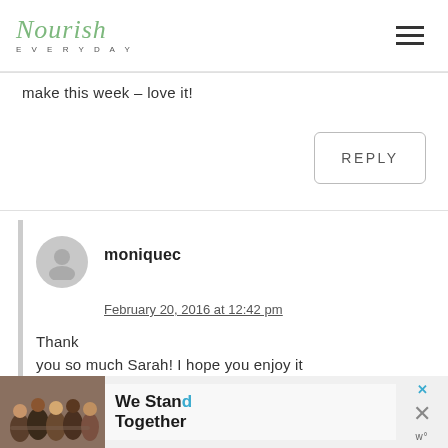Nourish Everyday
make this week – love it!
REPLY
moniquec
February 20, 2016 at 12:42 pm
Thank you so much Sarah! I hope you enjoy it
[Figure (infographic): We Stand Together advertisement banner at the bottom of the page with a photo of people sitting together]